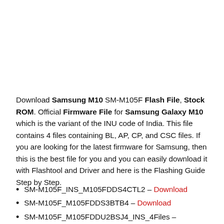Download Samsung M10 SM-M105F Flash File, Stock ROM. Official Firmware File for Samsung Galaxy M10 which is the variant of the INU code of India. This file contains 4 files containing BL, AP, CP, and CSC files. If you are looking for the latest firmware for Samsung, then this is the best file for you and you can easily download it with Flashtool and Driver and here is the Flashing Guide Step by Step.
SM-M105F_INS_M105FDDS4CTL2 – Download
SM-M105F_M105FDDS3BTB4 – Download
SM-M105F_M105FDDU2BSJ4_INS_4Files – Download